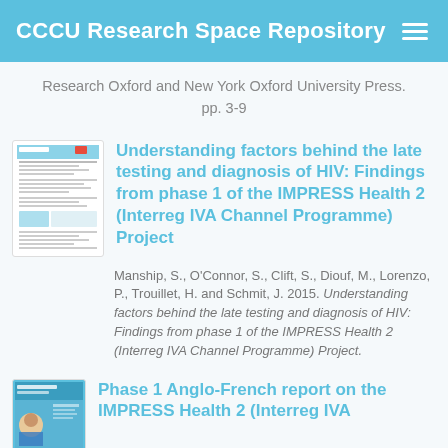CCCU Research Space Repository
Research Oxford and New York Oxford University Press. pp. 3-9
[Figure (screenshot): Thumbnail of a document page]
Understanding factors behind the late testing and diagnosis of HIV: Findings from phase 1 of the IMPRESS Health 2 (Interreg IVA Channel Programme) Project
Manship, S., O'Connor, S., Clift, S., Diouf, M., Lorenzo, P., Trouillet, H. and Schmit, J. 2015. Understanding factors behind the late testing and diagnosis of HIV: Findings from phase 1 of the IMPRESS Health 2 (Interreg IVA Channel Programme) Project.
[Figure (screenshot): Thumbnail of a document page with blue header and people image]
Phase 1 Anglo-French report on the IMPRESS Health 2 (Interreg IVA